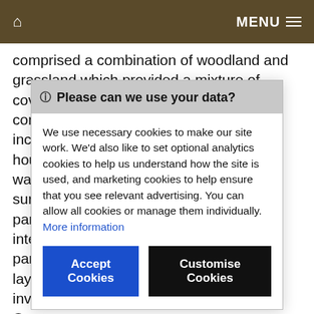🏠  MENU ≡
comprised a combination of woodland and grassland which provided a mixture of cover and grazing for deer. Parks could contain a number of feat included hous warr surro park inter park layin invo Occa may land sma. Anglo-Saxon period, it
🛈 Please can we use your data?
We use necessary cookies to make our site work. We'd also like to set optional analytics cookies to help us understand how the site is used, and marketing cookies to help ensure that you see relevant advertising. You can allow all cookies or manage them individually. More information
Accept Cookies  Customise Cookies